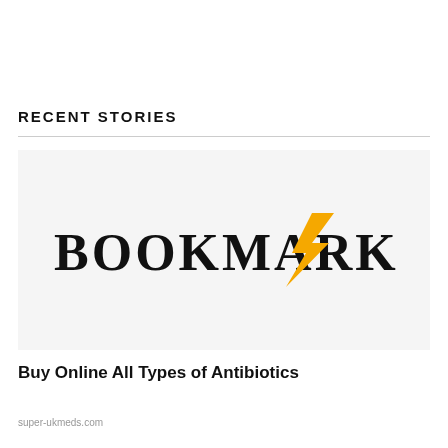RECENT STORIES
[Figure (logo): Bookmark logo with serif uppercase BOOKMARK text and yellow lightning bolt icon]
Buy Online All Types of Antibiotics
super-ukmeds.com